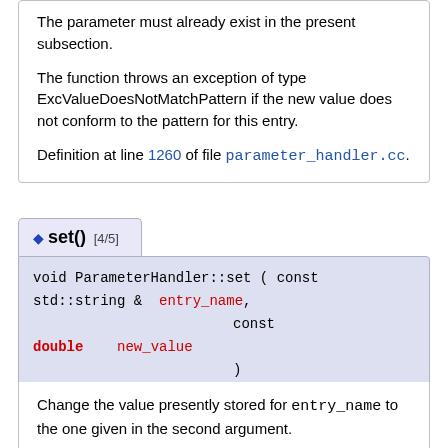The parameter must already exist in the present subsection.
The function throws an exception of type ExcValueDoesNotMatchPattern if the new value does not conform to the pattern for this entry.
Definition at line 1260 of file parameter_handler.cc.
◆ set() [4/5]
void ParameterHandler::set ( const std::string & entry_name, const double new_value )
Change the value presently stored for entry_name to the one given in the second argument.
The parameter must already exist in the present subsection.
For internal purposes, the new value needs to be converted to a